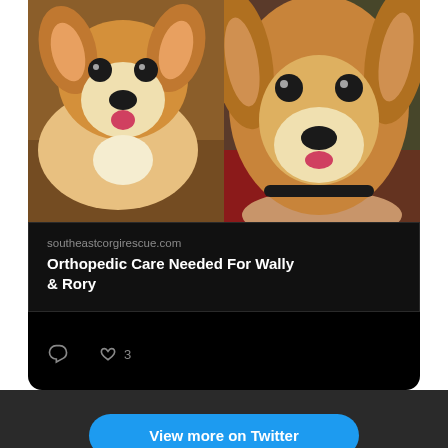[Figure (photo): Two corgi dogs side by side. Left: a young corgi lying on a table with tongue out wearing a yellow tag. Right: a corgi close-up with tongue slightly out being held by someone.]
southeastcorgirescue.com
Orthopedic Care Needed For Wally & Rory
View more on Twitter
Learn more about privacy on Twitter